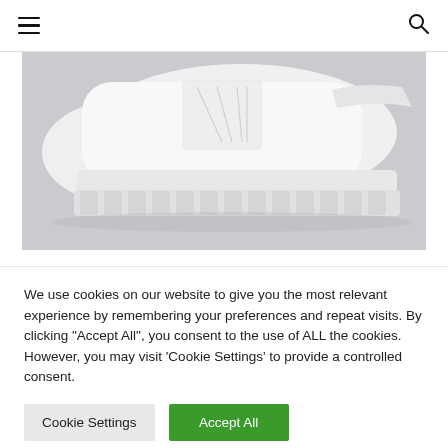Navigation bar with hamburger menu and search icon
[Figure (photo): Close-up photo of a white chunky-sole sneaker or boot on a light grey concrete surface. The sole has deep ridged treads. The upper is white leather/fabric with stitching detail.]
We use cookies on our website to give you the most relevant experience by remembering your preferences and repeat visits. By clicking "Accept All", you consent to the use of ALL the cookies. However, you may visit 'Cookie Settings' to provide a controlled consent.
Cookie Settings
Accept All